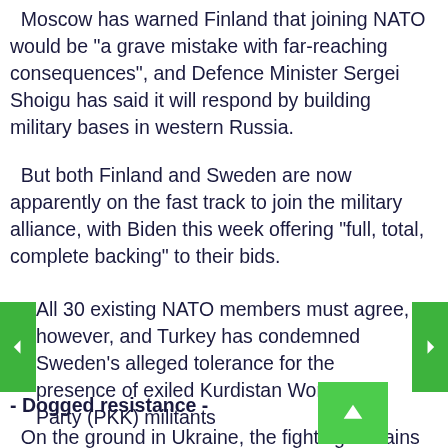Moscow has warned Finland that joining NATO would be "a grave mistake with far-reaching consequences", and Defence Minister Sergei Shoigu has said it will respond by building military bases in western Russia.
But both Finland and Sweden are now apparently on the fast track to join the military alliance, with Biden this week offering "full, total, complete backing" to their bids.
All 30 existing NATO members must agree, however, and Turkey has condemned Sweden's alleged tolerance for the presence of exiled Kurdistan Workers' Party (PKK) militants
- Dogged resistance -
On the ground in Ukraine, the fighting remains fiercest in the eastern region of Donbas, a Russian-speaking area partially controlled by pro-Kremlin separatists since 2014.
In Severodonetsk, a frontline city now at risk of encirclement, 12 people were killed and another 40